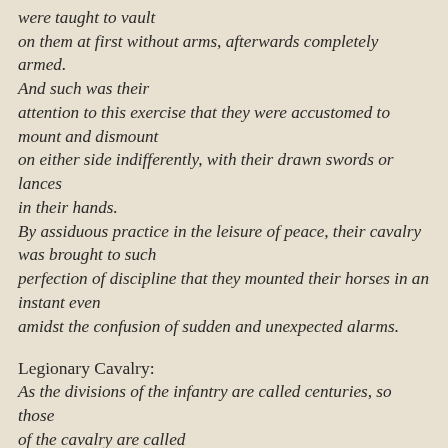were taught to vault on them at first without arms, afterwards completely armed. And such was their attention to this exercise that they were accustomed to mount and dismount on either side indifferently, with their drawn swords or lances in their hands. By assiduous practice in the leisure of peace, their cavalry was brought to such perfection of discipline that they mounted their horses in an instant even amidst the confusion of sudden and unexpected alarms.
Legionary Cavalry:
As the divisions of the infantry are called centuries, so those of the cavalry are called troops. A troop consists of thirty-two men and is commanded by a Decurion. Every century has its ensign and every troop its Standard. The centurion in the infantry is chosen for his size, strength and dexterity in throwing his missile weapons and for his skill in the use of his sword and shield.